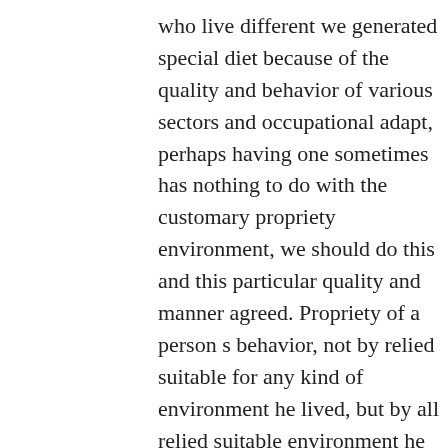who live different we generated special diet because of the quality and behavior of various sectors and occupational adapt, perhaps having one sometimes has nothing to do with the customary propriety environment, we should do this and this particular quality and manner agreed. Propriety of a person s behavior, not by relied suitable for any kind of environment he lived, but by all relied suitable environment he lived, they put themselves in the sake of 646-563 time we think we will naturally get his attention. If he looks Tibco TB0-106 Practice Test too much for